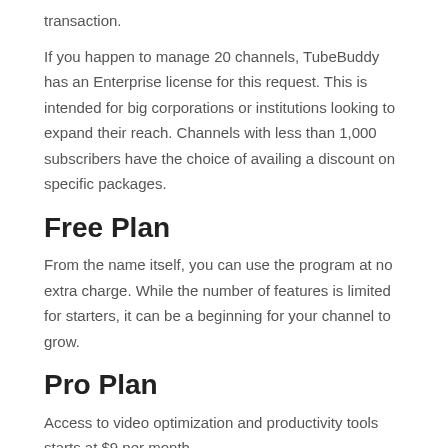transaction.
If you happen to manage 20 channels, TubeBuddy has an Enterprise license for this request. This is intended for big corporations or institutions looking to expand their reach. Channels with less than 1,000 subscribers have the choice of availing a discount on specific packages.
Free Plan
From the name itself, you can use the program at no extra charge. While the number of features is limited for starters, it can be a beginning for your channel to grow.
Pro Plan
Access to video optimization and productivity tools starts at $9 per month